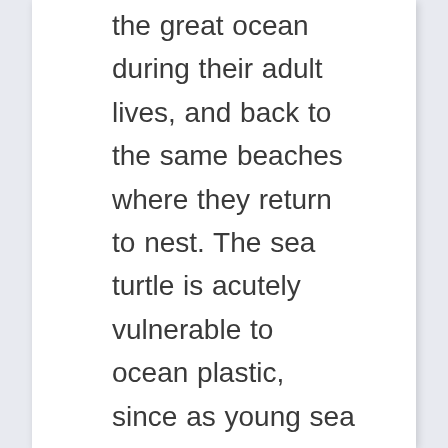the great ocean during their adult lives, and back to the same beaches where they return to nest. The sea turtle is acutely vulnerable to ocean plastic, since as young sea turtles they live amongst the kelp beds and sometimes mistake bits of plastic for food. Sea turtles are also beautiful and majestic. The Sea Turtle is our spirit animal, because drplasticpicker hopes to be like the turtle – every